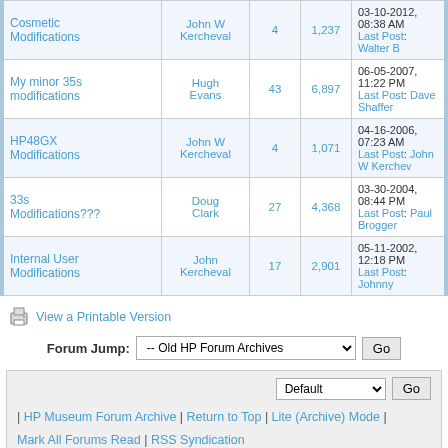| Thread | Author | Replies | Views | Last Post |
| --- | --- | --- | --- | --- |
| Cosmetic Modifications | John W Kercheval | 4 | 1,237 | 03-10-2012, 08:38 AM
Last Post: Walter B |
| My minor 35s modifications | Hugh Evans | 43 | 6,897 | 06-05-2007, 11:22 PM
Last Post: Dave Shaffer |
| HP48GX Modifications | John W Kercheval | 4 | 1,071 | 04-16-2006, 07:23 AM
Last Post: John W Kerchev... |
| 33s Modifications??? | Doug Clark | 27 | 4,368 | 03-30-2004, 08:44 PM
Last Post: Paul Brogger |
| Internal User Modifications | John Kercheval | 17 | 2,901 | 05-11-2002, 12:18 PM
Last Post: Johnny |
View a Printable Version
Forum Jump: -- Old HP Forum Archives  Go
Default  Go
| HP Museum Forum Archive | Return to Top | Lite (Archive) Mode | Mark All Forums Read | RSS Syndication
Powered By MyBB, © 2002-2022 MyBB Group. Theme by: MrBrechreiz & Vintagedaddyo